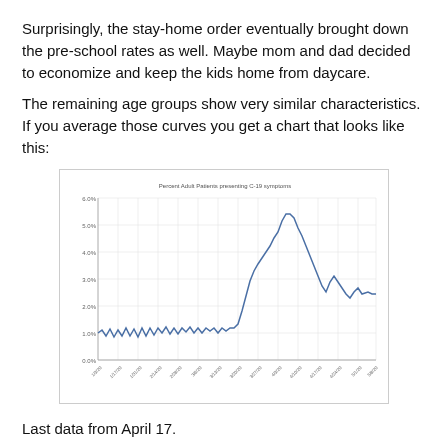Surprisingly, the stay-home order eventually brought down the pre-school rates as well. Maybe mom and dad decided to economize and keep the kids home from daycare.
The remaining age groups show very similar characteristics. If you average those curves you get a chart that looks like this:
[Figure (continuous-plot): Line chart showing percent of adult patients presenting COVID-19 symptoms over time (weekly dates from approximately Jan 2020 to Apr 17, 2020). The line starts around 1% with slight oscillation, then rises steeply around late March to a peak near 5.5%, then drops back down to around 2.5% by April 17.]
Last data from April 17.